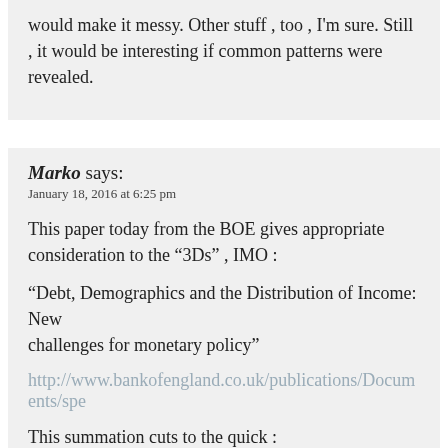would make it messy. Other stuff , too , I'm sure. Still , it would be interesting if common patterns were revealed.
Marko says:
January 18, 2016 at 6:25 pm
This paper today from the BOE gives appropriate consideration to the “3Ds” , IMO :
“Debt, Demographics and the Distribution of Income: New challenges for monetary policy”
http://www.bankofengland.co.uk/publications/Documents/spe
This summation cuts to the quick :